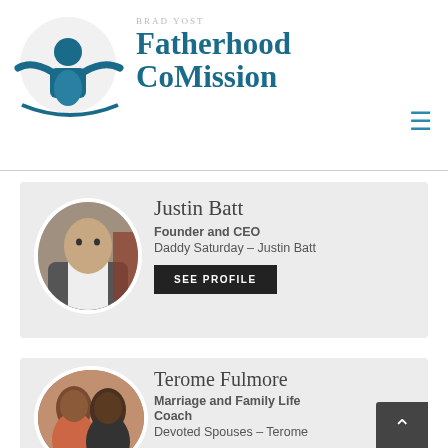[Figure (logo): Fatherhood CoMission logo with a man figure with arms outstretched over a child and curved line below]
Fatherhood CoMission
Justin Batt
Founder and CEO
Daddy Saturday – Justin Batt
[Figure (photo): Headshot of Justin Batt, a man wearing a jacket]
SEE PROFILE
Terome Fulmore
Marriage and Family Life Coach
Devoted Spouses – Terome
[Figure (photo): Photo of Terome Fulmore with a woman, smiling]